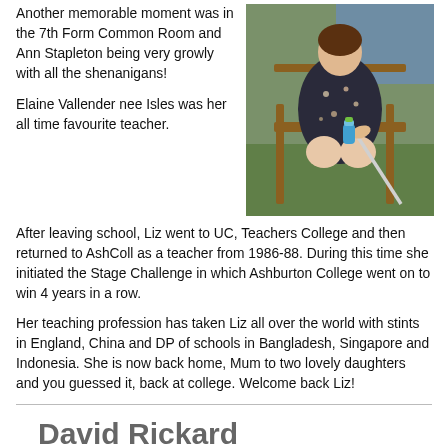Another memorable moment was in the 7th Form Common Room and Ann Stapleton being very growly with all the shenanigans!
[Figure (photo): Photo of a person sitting in a chair outdoors, wearing a floral dress, holding a cane or stick, with green grass and a blue background]
Elaine Vallender nee Isles was her all time favourite teacher.
After leaving school, Liz went to UC, Teachers College and then returned to AshColl as a teacher from 1986-88. During this time she initiated the Stage Challenge in which Ashburton College went on to win 4 years in a row.
Her teaching profession has taken Liz all over the world with stints in England, China and DP of schools in Bangladesh, Singapore and Indonesia. She is now back home, Mum to two lovely daughters and you guessed it, back at college. Welcome back Liz!
David Rickard
I still remember the shock of moving from the small rural primary